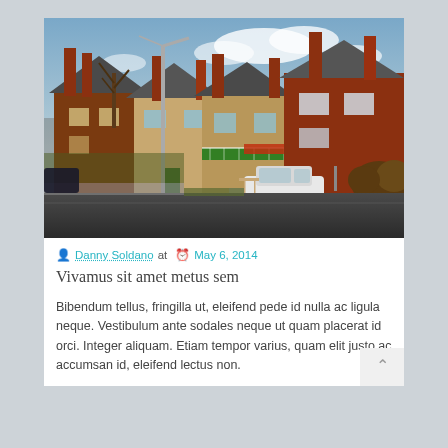[Figure (photo): Street view of suburban brick houses with chimneys, a street light pole, parked white SUV, and street in foreground. Warm late afternoon light.]
Danny Soldano at  May 6, 2014
Vivamus sit amet metus sem
Bibendum tellus, fringilla ut, eleifend pede id nulla ac ligula neque. Vestibulum ante sodales neque ut quam placerat id orci. Integer aliquam. Etiam tempor varius, quam elit justo ac accumsan id, eleifend lectus non.